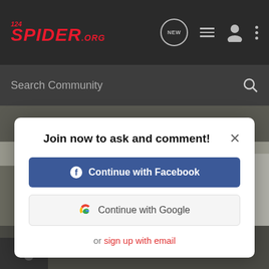124SPIDER.ORG — NEW — navigation icons
Search Community
[Figure (photo): Close-up photo of car undercarriage/floor area with a yellow arrow pointing to a bolt or fastener detail; dark gray carpet/metal surfaces visible.]
Join now to ask and comment!
Continue with Facebook
Continue with Google
or sign up with email